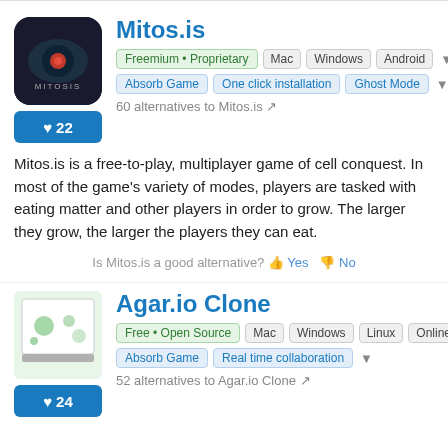[Figure (logo): Mitos.is app icon — dark background with MITOSIS text and red dot]
Mitos.is
Freemium • Proprietary   Mac   Windows   Android
Absorb Game   One click installation   Ghost Mode
♥22
60 alternatives to Mitos.is
Mitos.is is a free-to-play, multiplayer game of cell conquest. In most of the game's variety of modes, players are tasked with eating matter and other players in order to grow. The larger they grow, the larger the players they can eat.
Is Mitos.is a good alternative? 👍 Yes 👎 No
[Figure (screenshot): Agar.io Clone app screenshot — small green game preview]
Agar.io Clone
Free • Open Source   Mac   Windows   Linux   Online
Absorb Game   Real time collaboration
♥24
52 alternatives to Agar.io Clone